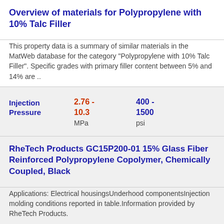Overview of materials for Polypropylene with 10% Talc Filler
This property data is a summary of similar materials in the MatWeb database for the category "Polypropylene with 10% Talc Filler". Specific grades with primary filler content between 5% and 14% are ..
| Property | Value (SI) | Value (Imperial) |
| --- | --- | --- |
| Injection Pressure | 2.76 - 10.3 MPa | 400 - 1500 psi |
RheTech Products GC15P200-01 15% Glass Fiber Reinforced Polypropylene Copolymer, Chemically Coupled, Black
Applications: Electrical housingsUnderhood componentsInjection molding conditions reported in table.Information provided by RheTech Products.
| Property | Value (SI) | Value (Imperial) |
| --- | --- | --- |
| Injection Pressure | 2.76 - 10.3 MPa | 400 - 1500 psi |